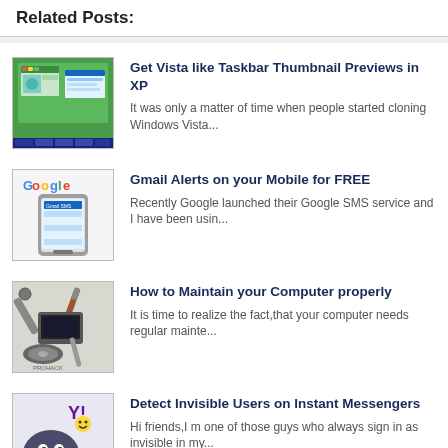Related Posts:
[Figure (screenshot): Thumbnail image of Vista-like Taskbar Thumbnail Previews in XP - shows a Windows desktop with taskbar thumbnails]
Get Vista like Taskbar Thumbnail Previews in XP
It was only a matter of time when people started cloning Windows Vista...
[Figure (screenshot): Google logo above a mobile phone showing Gmail SMS alerts interface]
Gmail Alerts on your Mobile for FREE
Recently Google launched their Google SMS service and I have been usin...
[Figure (photo): Computer maintenance tools - wrench, screwdriver, hard drive and computer components. PROHACK watermark.]
How to Maintain your Computer properly
It is time to realize the fact,that your computer needs regular mainte...
[Figure (illustration): Dark ghost/invisible icon with Yahoo and smiley face elements - for detecting invisible users on instant messengers]
Detect Invisible Users on Instant Messengers
Hi friends,I m one of those guys who always sign in as invisible in my...